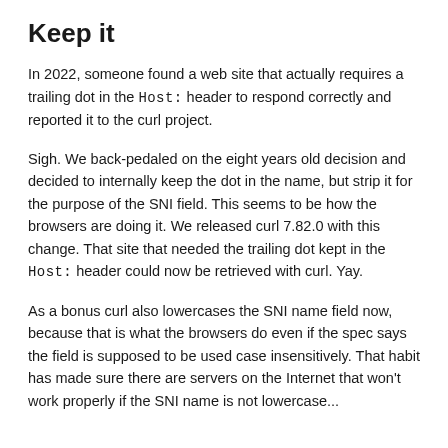Keep it
In 2022, someone found a web site that actually requires a trailing dot in the Host: header to respond correctly and reported it to the curl project.
Sigh. We back-pedaled on the eight years old decision and decided to internally keep the dot in the name, but strip it for the purpose of the SNI field. This seems to be how the browsers are doing it. We released curl 7.82.0 with this change. That site that needed the trailing dot kept in the Host: header could now be retrieved with curl. Yay.
As a bonus curl also lowercases the SNI name field now, because that is what the browsers do even if the spec says the field is supposed to be used case insensitively. That habit has made sure there are servers on the Internet that won't work properly if the SNI name is not lowercase...